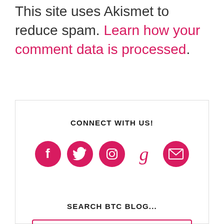This site uses Akismet to reduce spam. Learn how your comment data is processed.
CONNECT WITH US!
[Figure (infographic): Five social media icons in pink/crimson: Facebook circle, Twitter bird circle, Instagram circle, Goodreads 'g' letter, and an envelope/mail circle.]
SEARCH BTC BLOG...